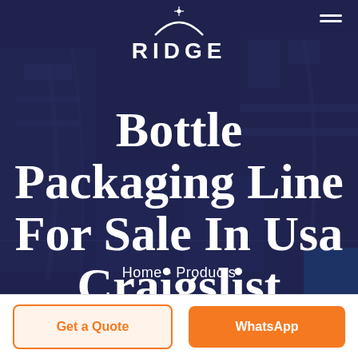[Figure (screenshot): Dark blue-tinted industrial machinery/packaging line background image with overlay]
RIDGE
Bottle Packaging Line For Sale In Usa Craigslist
Home - Products
Get a Quote
WhatsApp